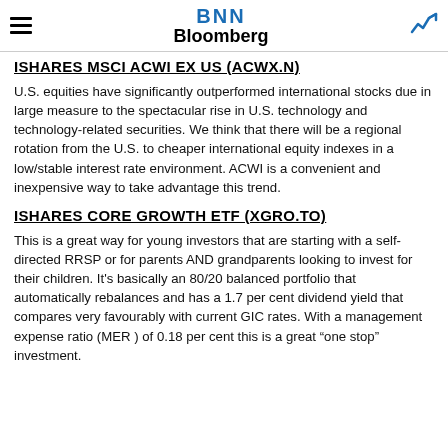BNN Bloomberg
ISHARES MSCI ACWI EX US (ACWX.N)
U.S. equities have significantly outperformed international stocks due in large measure to the spectacular rise in U.S. technology and technology-related securities. We think that there will be a regional rotation from the U.S. to cheaper international equity indexes in a low/stable interest rate environment. ACWI is a convenient and inexpensive way to take advantage this trend.
ISHARES CORE GROWTH ETF (XGRO.TO)
This is a great way for young investors that are starting with a self-directed RRSP or for parents AND grandparents looking to invest for their children. It's basically an 80/20 balanced portfolio that automatically rebalances and has a 1.7 per cent dividend yield that compares very favourably with current GIC rates. With a management expense ratio (MER ) of 0.18 per cent this is a great “one stop” investment.